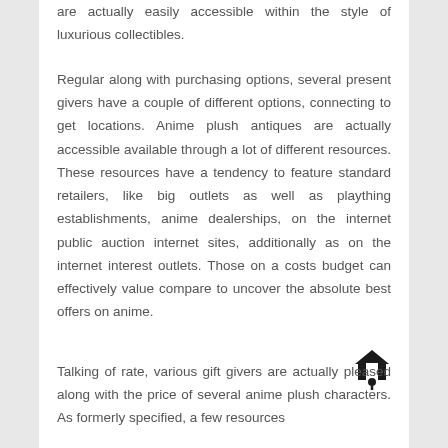are actually easily accessible within the style of luxurious collectibles.
Regular along with purchasing options, several present givers have a couple of different options, connecting to get locations. Anime plush antiques are actually accessible available through a lot of different resources. These resources have a tendency to feature standard retailers, like big outlets as well as plaything establishments, anime dealerships, on the internet public auction internet sites, additionally as on the internet interest outlets. Those on a costs budget can effectively value compare to uncover the absolute best offers on anime.
Talking of rate, various gift givers are actually pleased along with the price of several anime plush characters. As formerly specified, a few resources